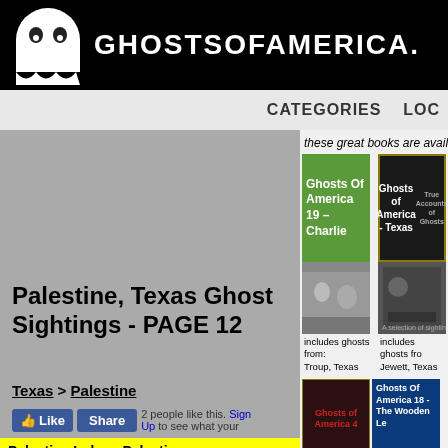GhostsOfAmerica.c
CATEGORIES  LOC
these great books are available f
[Figure (illustration): Book cover: Ghosts Of America 19 - Charlie, green cover]
[Figure (illustration): Book cover: Ghosts of America - Texas, dark cover]
includes ghosts from: Troup, Texas
includes ghosts fro: Jewett, Texas
[Figure (illustration): Book cover: Ghosts of America 4]
[Figure (illustration): Book cover: Ghosts Of America 18 - The Wooden Le]
Palestine, Texas Ghost Sightings - PAGE 12
Texas > Palestine
Like  Share  2 people like this. Sign Up to see what your
Palestine Index - Palestine PAGE 1  2  3  4  5  6  7  8  9